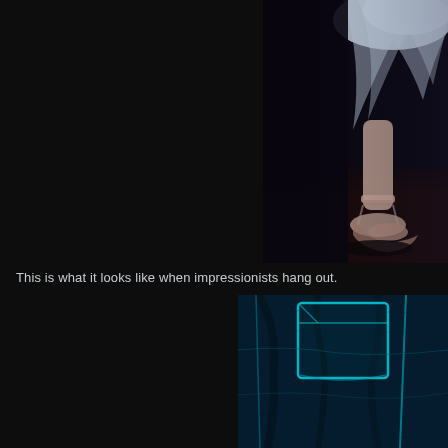[Figure (photo): Close-up photo of a ballet dancer's feet in pointe shoes with a white tutu/skirt, on a dark floor, dark background]
This is what it looks like when impressionists hang out.
[Figure (photo): Close-up photo of blue fabric (jeans/denim) with glowing teal/cyan outlines highlighting the pocket and seam details, dark background]